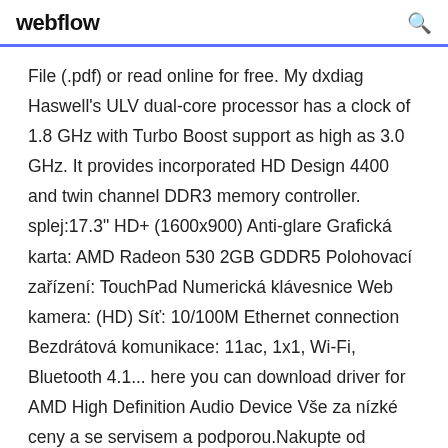webflow
File (.pdf) or read online for free. My dxdiag Haswell's ULV dual-core processor has a clock of 1.8 GHz with Turbo Boost support as high as 3.0 GHz. It provides incorporated HD Design 4400 and twin channel DDR3 memory controller. splej:17.3" HD+ (1600x900) Anti-glare Grafická karta: AMD Radeon 530 2GB GDDR5 Polohovací zařízení: TouchPad Numerická klávesnice Web kamera: (HD) Síť: 10/100M Ethernet connection Bezdrátová komunikace: 11ac, 1x1, Wi-Fi, Bluetooth 4.1... here you can download driver for AMD High Definition Audio Device Vše za nízké ceny a se servisem a podporou.Nakupte od profesionálů! Osobní odběr zboží na Vámi vybrané provozovně, nebo